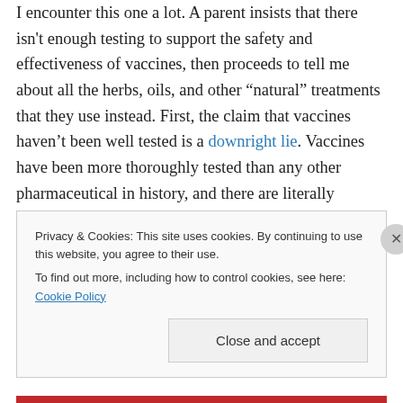I encounter this one a lot. A parent insists that there isn't enough testing to support the safety and effectiveness of vaccines, then proceeds to tell me about all the herbs, oils, and other “natural” treatments that they use instead. First, the claim that vaccines haven't been well tested is a downright lie. Vaccines have been more thoroughly tested than any other pharmaceutical in history, and there are literally thousands of papers on their safety and effectiveness. Second, and more germane, alternative medicines haven't been well tested. As Tim Minchin eloquently put it, “by definition, alternative medicine has
Privacy & Cookies: This site uses cookies. By continuing to use this website, you agree to their use.
To find out more, including how to control cookies, see here: Cookie Policy